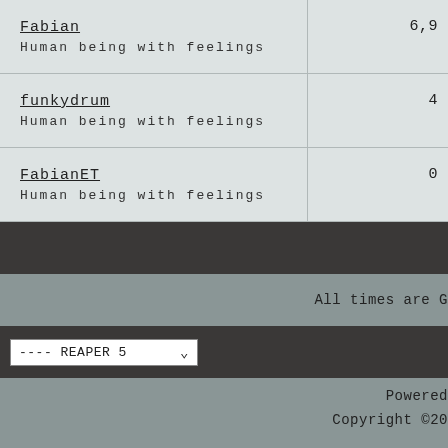| User | Posts |
| --- | --- |
| Fabian
Human being with feelings | 6,9 |
| funkydrum
Human being with feelings | 4 |
| FabianET
Human being with feelings | 0 |
All times are G
---- REAPER 5
Powered
Copyright ©20